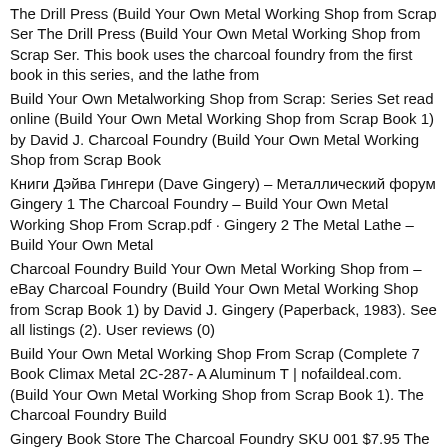The Drill Press (Build Your Own Metal Working Shop from Scrap Ser The Drill Press (Build Your Own Metal Working Shop from Scrap Ser. This book uses the charcoal foundry from the first book in this series, and the lathe from
Build Your Own Metalworking Shop from Scrap: Series Set read online (Build Your Own Metal Working Shop from Scrap Book 1) by David J. Charcoal Foundry (Build Your Own Metal Working Shop from Scrap Book
Книги Дэйва Гингери (Dave Gingery) – Металлический форум Gingery 1 The Charcoal Foundry – Build Your Own Metal Working Shop From Scrap.pdf · Gingery 2 The Metal Lathe – Build Your Own Metal
Charcoal Foundry Build Your Own Metal Working Shop from – eBay Charcoal Foundry (Build Your Own Metal Working Shop from Scrap Book 1) by David J. Gingery (Paperback, 1983). See all listings (2). User reviews (0)
Build Your Own Metal Working Shop From Scrap (Complete 7 Book Climax Metal 2C-287- A Aluminum T | nofaildeal.com. (Build Your Own Metal Working Shop from Scrap Book 1). The Charcoal Foundry Build
Gingery Book Store The Charcoal Foundry SKU 001 $7.95 The Metal Lathe SKU 002 $9.95 Build Your Own Metal Working Shop From Scrap – Hard Bound Edition SKU 034